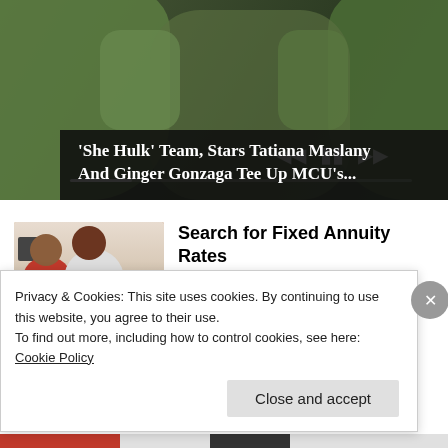[Figure (screenshot): Video player showing She-Hulk content with two green Hulk hands, video controls (previous, pause, next buttons), and a progress bar]
'She Hulk' Team, Stars Tatiana Maslany And Ginger Gonzaga Tee Up MCU's...
[Figure (photo): Photo of a couple, a woman in a red dress and a man in a white shirt, appearing to look at something together]
Search for Fixed Annuity Rates
Search Ads
Privacy & Cookies: This site uses cookies. By continuing to use this website, you agree to their use.
To find out more, including how to control cookies, see here: Cookie Policy
Close and accept